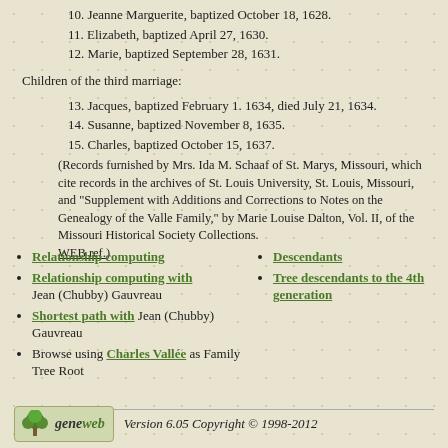10. Jeanne Marguerite, baptized October 18, 1628.
11. Elizabeth, baptized April 27, 1630.
12. Marie, baptized September 28, 1631.
Children of the third marriage:
13. Jacques, baptized February 1. 1634, died July 21, 1634.
14. Susanne, baptized November 8, 1635.
15. Charles, baptized October 15, 1637.
(Records furnished by Mrs. Ida M. Schaaf of St. Marys, Missouri, which cite records in the archives of St. Louis University, St. Louis, Missouri, and "Supplement with Additions and Corrections to Notes on the Genealogy of the Valle Family," by Marie Louise Dalton, Vol. II, of the Missouri Historical Society Collections. WEB ref.)
Relationship computing
Relationship computing with Jean (Chubby) Gauvreau
Shortest path with Jean (Chubby) Gauvreau
Browse using Charles Vallée as Family Tree Root
Descendants
Tree descendants to the 4th generation
Version 6.05 Copyright © 1998-2012